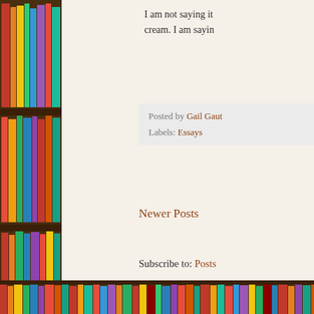[Figure (photo): Bookshelf with colorful books along the left side and bottom of the page]
I am not saying it... cream. I am sayin...
Posted by Gail Gaut
Labels: Essays
Newer Posts
Subscribe to: Posts
Simple theme. Theme imag...